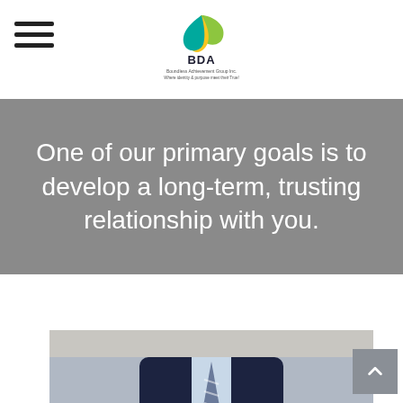BDA — navigation header with hamburger menu and BDA logo
One of our primary goals is to develop a long-term, trusting relationship with you.
[Figure (photo): A businessman in a dark suit with a striped tie holding a pen, sitting across from another person, in a professional meeting or consultation setting.]